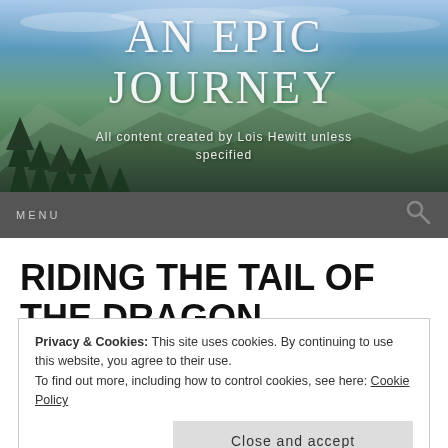AN EPIC JOURNEY
All content created by Lois Hewitt unless specified
RIDING THE TAIL OF THE DRAGON
Privacy & Cookies: This site uses cookies. By continuing to use this website, you agree to their use.
To find out more, including how to control cookies, see here: Cookie Policy
Close and accept
[Figure (map): Partial map showing locations: The Switchbacks, Rebels Revenge, Mogs Corner]